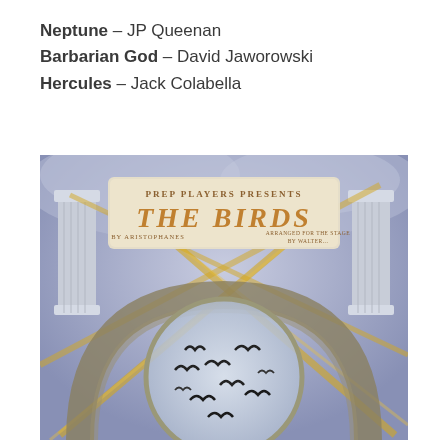Neptune – JP Queenan
Barbarian God – David Jaworowski
Hercules – Jack Colabella
[Figure (illustration): Theatrical poster for 'The Birds' by Aristophanes, arranged for the stage. Text reads: PREP PLAYERS PRESENTS / THE BIRDS / BY ARISTOPHANES / ARRANGED FOR THE STAGE / BY WALTER... Background shows a purple-grey cloudy sky with Greek columns on left and right, golden light rays crossing the image, and silhouettes of birds in flight through a circular stone arch.]